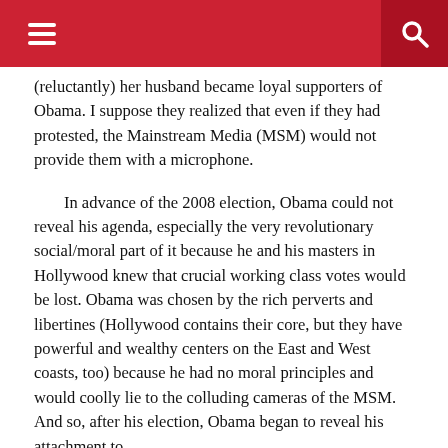[Navigation header with menu and search icons]
(reluctantly) her husband became loyal supporters of Obama. I suppose they realized that even if they had protested, the Mainstream Media (MSM) would not provide them with a microphone.
In advance of the 2008 election, Obama could not reveal his agenda, especially the very revolutionary social/moral part of it because he and his masters in Hollywood knew that crucial working class votes would be lost. Obama was chosen by the rich perverts and libertines (Hollywood contains their core, but they have powerful and wealthy centers on the East and West coasts, too) because he had no moral principles and would coolly lie to the colluding cameras of the MSM. And so, after his election, Obama began to reveal his attachment to